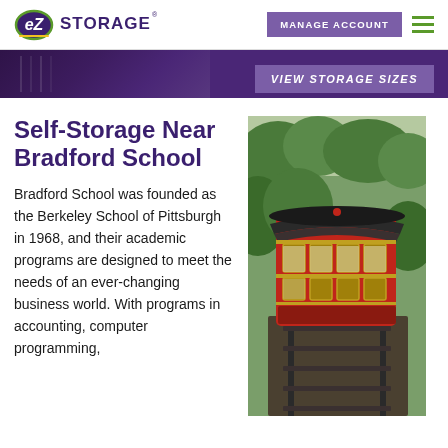EZ Storage | MANAGE ACCOUNT
[Figure (screenshot): Purple banner with VIEW STORAGE SIZES button and partial storage unit image]
Self-Storage Near Bradford School
Bradford School was founded as the Berkeley School of Pittsburgh in 1968, and their academic programs are designed to meet the needs of an ever-changing business world. With programs in accounting, computer programming,
[Figure (photo): Aerial view of a red Pittsburgh funicular (incline) car on tracks surrounded by green trees]